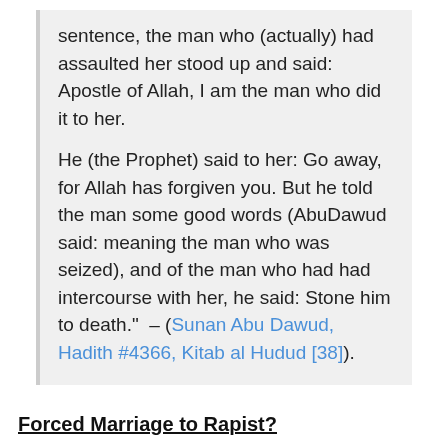sentence, the man who (actually) had assaulted her stood up and said: Apostle of Allah, I am the man who did it to her.

He (the Prophet) said to her: Go away, for Allah has forgiven you. But he told the man some good words (AbuDawud said: meaning the man who was seized), and of the man who had had intercourse with her, he said: Stone him to death." – (Sunan Abu Dawud, Hadith #4366, Kitab al Hudud [38]).
Forced Marriage to Rapist?
While Islam punishes the rapist, we do hear of some really peculiar instances where the woman is married to the man. This has no basis in Islamic law, nor does it